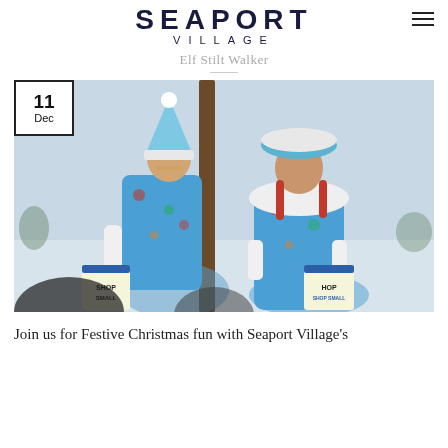SEAPORT VILLAGE
Elf Stilt Walker
[Figure (photo): Two performers dressed in festive blue Hawaiian-print elf costumes with white fur-trimmed hats, long white gloves, and carrying 'Shop Small' tote bags. They are posing on a dock or waterfront with a grey winter sky and water visible in the background. A date badge showing '11 Dec' is overlaid in the top left corner.]
Join us for Festive Christmas fun with Seaport Village's